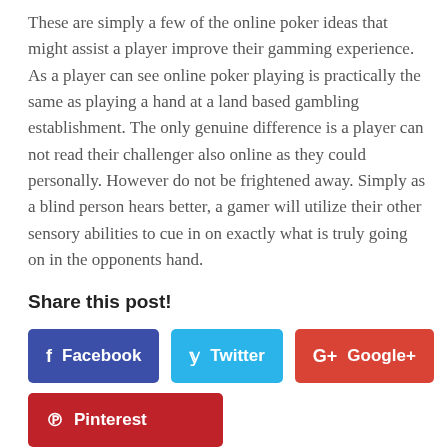These are simply a few of the online poker ideas that might assist a player improve their gamming experience. As a player can see online poker playing is practically the same as playing a hand at a land based gambling establishment. The only genuine difference is a player can not read their challenger also online as they could personally. However do not be frightened away. Simply as a blind person hears better, a gamer will utilize their other sensory abilities to cue in on exactly what is truly going on in the opponents hand.
Share this post!
[Figure (infographic): Social share buttons: Facebook (dark blue), Twitter (light blue), Google+ (red), Pinterest (dark red)]